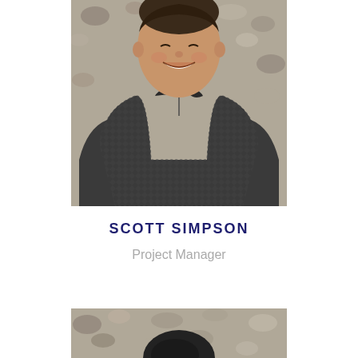[Figure (photo): Professional headshot photo of a smiling man in a dark patterned polo shirt against a blurred gravel/rock background. Shows from approximately chest up.]
SCOTT SIMPSON
Project Manager
[Figure (photo): Bottom portion of a second professional photo showing the top of a person's head and hair, with blurred gravel/rock background similar to the first photo. The person appears to be wearing a dark jacket.]